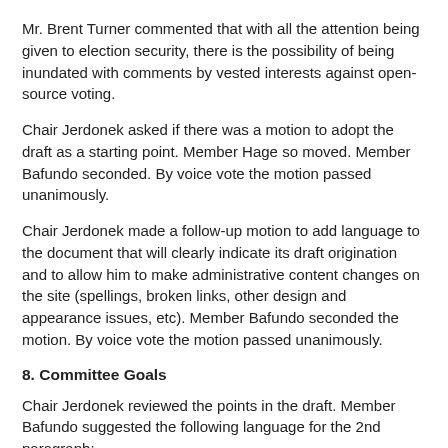Mr. Brent Turner commented that with all the attention being given to election security, there is the possibility of being inundated with comments by vested interests against open-source voting.
Chair Jerdonek asked if there was a motion to adopt the draft as a starting point. Member Hage so moved. Member Bafundo seconded. By voice vote the motion passed unanimously.
Chair Jerdonek made a follow-up motion to add language to the document that will clearly indicate its draft origination and to allow him to make administrative content changes on the site (spellings, broken links, other design and appearance issues, etc). Member Bafundo seconded the motion. By voice vote the motion passed unanimously.
8. Committee Goals
Chair Jerdonek reviewed the points in the draft. Member Bafundo suggested the following language for the 2nd paragraph:
that the TAC’s focus is to establish parameters that would guide the development of the future voting system.